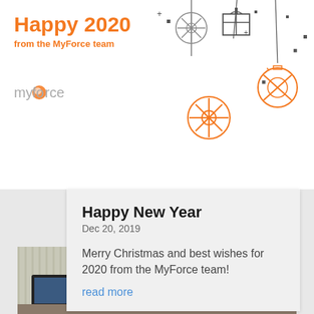Happy 2020
from the MyForce team
[Figure (illustration): MyForce logo with holiday ornaments decoration including snowflakes, gift box, and baubles in orange and dark gray]
Happy New Year
Dec 20, 2019
Merry Christmas and best wishes for 2020 from the MyForce team!
read more
[Figure (photo): Photo of a young man with glasses sitting in front of multiple computer monitors in an office environment]